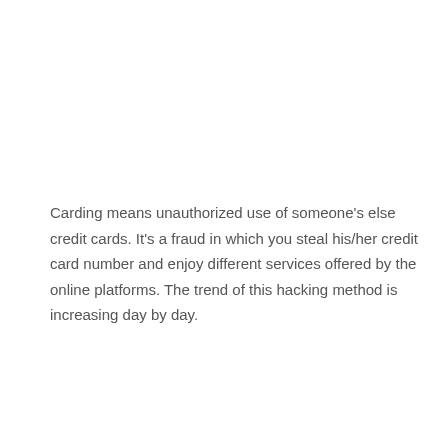Carding means unauthorized use of someone's else credit cards. It's a fraud in which you steal his/her credit card number and enjoy different services offered by the online platforms. The trend of this hacking method is increasing day by day.
Probably, you are here because you have been searching for some of the best VPN for carding. This isn't as easy as it sounds; you need to follow some rules and techniques to achieve it successfully. Hacking the credit card while ensuring that your identity is hidden is very important and crucial.
Not all VPN can be used for carding, as not every VPN claim to protect your privacy. So, for you, we have shortlisted the 5 best VPN that will surely be helpful for you in the carding process. Before going into each of those VPN details, let's discuss why it is